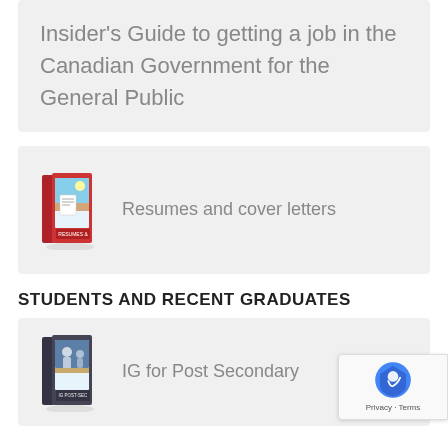Insider's Guide to getting a job in the Canadian Government for the General Public
[Figure (illustration): Book cover image for Resumes and cover letters guide]
Resumes and cover letters
STUDENTS AND RECENT GRADUATES
[Figure (illustration): Book cover image for IG for Post Secondary]
IG for Post Secondary
[Figure (other): reCAPTCHA privacy badge overlay in bottom right corner showing Privacy and Terms links]